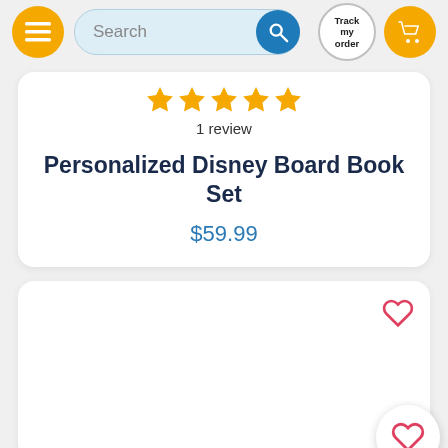Search bar with menu, track order, and cart buttons
1 review
Personalized Disney Board Book Set
$59.99
[Figure (screenshot): Second product card (partial), white rounded card with a heart/wishlist icon in top-right corner and a floating heart FAB button at bottom-right]